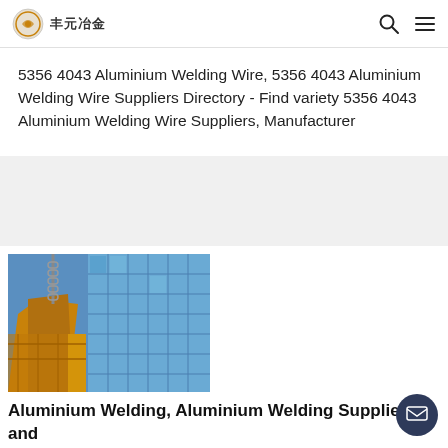丰元冶金
5356 4043 Aluminium Welding Wire, 5356 4043 Aluminium Welding Wire Suppliers Directory - Find variety 5356 4043 Aluminium Welding Wire Suppliers, Manufacturer
[Figure (photo): Industrial manufacturing scene showing large orange/golden metal structures being lifted by a crane chain, with blue glass building facade in background]
Aluminium Welding, Aluminium Welding Suppliers and
Aluminium Welding, Wholesale Various High Quality Aluminium Welding Products from Global Aluminium